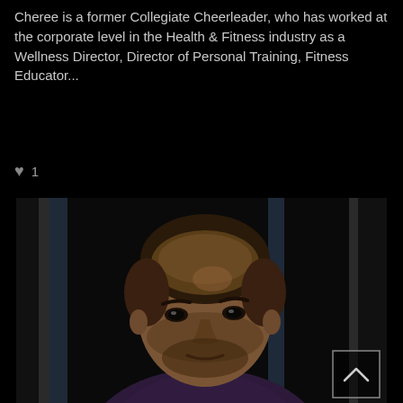Cheree is a former Collegiate Cheerleader, who has worked at the corporate level in the Health & Fitness industry as a Wellness Director, Director of Personal Training, Fitness Educator...
♥ 1
[Figure (photo): Portrait photo of a young man with a short fade haircut, dark eyes, light beard stubble, wearing a dark purple shirt. He is looking over his shoulder toward the camera with a serious expression. The background shows dark vertical elements (possibly gym equipment or bars). A scroll-up button with a chevron is visible in the bottom-right corner.]